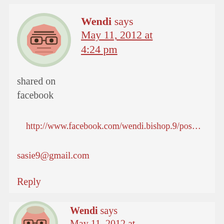[Figure (illustration): Avatar: cartoon face with glasses, octagonal shape, salmon/peach color on green circle background]
Wendi says May 11, 2012 at 4:24 pm
shared on facebook
http://www.facebook.com/wendi.bishop.9/pos...
sasie9@gmail.com
Reply
[Figure (illustration): Avatar: cartoon face with glasses and hair, octagonal shape, salmon/peach color on green circle background (partially visible)]
Wendi says May 11, 2012 at 4:26 pm